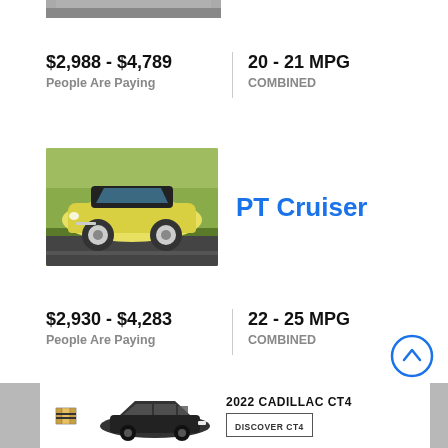[Figure (photo): Partial view of a car from above, cropped at top of page]
$2,988 - $4,789
People Are Paying
20 - 21 MPG
COMBINED
[Figure (photo): Yellow Chrysler PT Cruiser convertible driving on road]
PT Cruiser
$2,930 - $4,283
People Are Paying
22 - 25 MPG
COMBINED
[Figure (infographic): Scroll-to-top circular button with chevron up icon]
[Figure (infographic): Advertisement banner for 2022 Cadillac CT4 with Cadillac logo, car image, and Discover CT4 button]